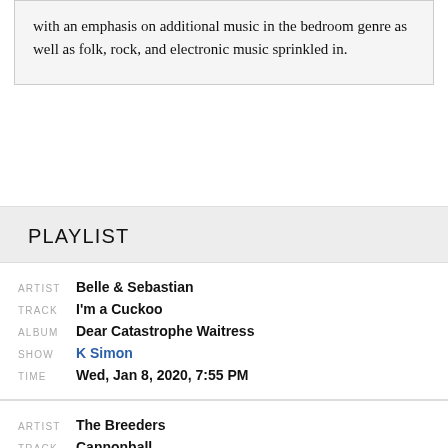with an emphasis on additional music in the bedroom genre as well as folk, rock, and electronic music sprinkled in.
PLAYLIST
| Label | Value |
| --- | --- |
| ARTIST | Belle & Sebastian |
| TRACK | I'm a Cuckoo |
| ALBUM | Dear Catastrophe Waitress |
| SHOW | K Simon |
| TIME | Wed, Jan 8, 2020, 7:55 PM |
| Label | Value |
| --- | --- |
| ARTIST | The Breeders |
| TRACK | Cannonball |
| ALBUM | Last Splash |
| SHOW | K Simon |